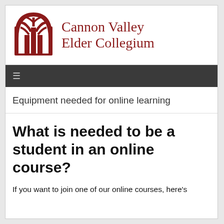[Figure (logo): Cannon Valley Elder Collegium logo: red tree/arch icon with organization name in dark red serif font]
[Figure (screenshot): Dark grey navigation bar with hamburger menu icon (three horizontal lines)]
Equipment needed for online learning
What is needed to be a student in an online course?
If you want to join one of our online courses, here's